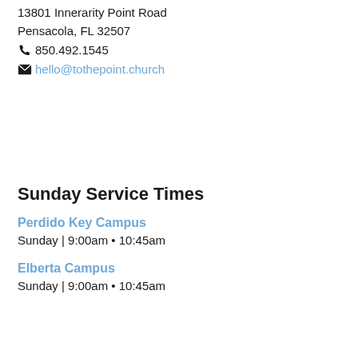13801 Innerarity Point Road
Pensacola, FL 32507
📞 850.492.1545
✉ hello@tothepoint.church
Sunday Service Times
Perdido Key Campus
Sunday | 9:00am • 10:45am
Elberta Campus
Sunday | 9:00am • 10:45am